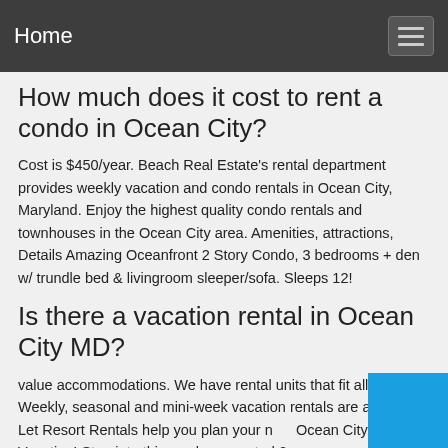Home
How much does it cost to rent a condo in Ocean City?
Cost is $450/year. Beach Real Estate’s rental department provides weekly vacation and condo rentals in Ocean City, Maryland. Enjoy the highest quality condo rentals and townhouses in the Ocean City area. Amenities, attractions, Details Amazing Oceanfront 2 Story Condo, 3 bedrooms + den w/ trundle bed & livingroom sleeper/sofa. Sleeps 12!
Is there a vacation rental in Ocean City MD?
value accommodations. We have rental units that fit all budgets. Weekly, seasonal and mini-week vacation rentals are available. Let Resort Rentals help you plan your next Ocean City Vacation! Step into this newly renovated 2 bedroom condo just off 30th street on the bayside...